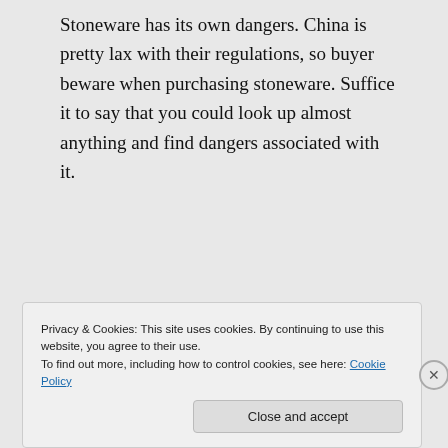Stoneware has its own dangers. China is pretty lax with their regulations, so buyer beware when purchasing stoneware. Suffice it to say that you could look up almost anything and find dangers associated with it.
★ Like
Privacy & Cookies: This site uses cookies. By continuing to use this website, you agree to their use.
To find out more, including how to control cookies, see here: Cookie Policy
Close and accept